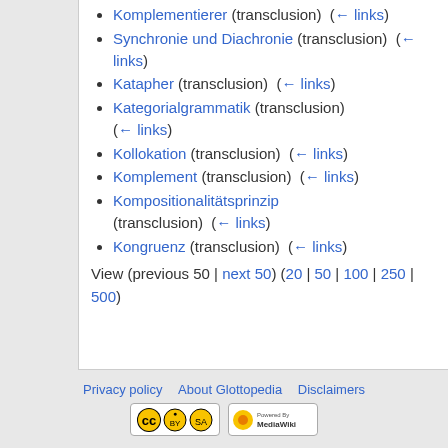Komplementierer (transclusion) (← links)
Synchronie und Diachronie (transclusion) (← links)
Katapher (transclusion) (← links)
Kategorialgrammatik (transclusion) (← links)
Kollokation (transclusion) (← links)
Komplement (transclusion) (← links)
Kompositionalitätsprinzip (transclusion) (← links)
Kongruenz (transclusion) (← links)
View (previous 50 | next 50) (20 | 50 | 100 | 250 | 500)
Privacy policy   About Glottopedia   Disclaimers